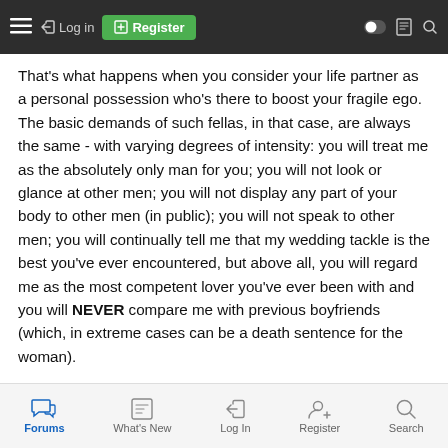Navigation bar with hamburger menu, Log in, Register, and icons
That's what happens when you consider your life partner as a personal possession who's there to boost your fragile ego. The basic demands of such fellas, in that case, are always the same - with varying degrees of intensity: you will treat me as the absolutely only man for you; you will not look or glance at other men; you will not display any part of your body to other men (in public); you will not speak to other men; you will continually tell me that my wedding tackle is the best you've ever encountered, but above all, you will regard me as the most competent lover you've ever been with and you will NEVER compare me with previous boyfriends (which, in extreme cases can be a death sentence for the woman).
Unfortunately, many men are reluctant to even articulate what they truly feel (sometimes even to themselves) for fear of being thought of as "less manly" (which actually translates to "less superior") by
Forums | What's New | Log In | Register | Search